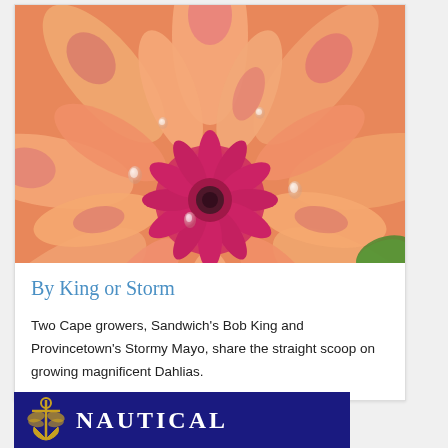[Figure (photo): Close-up macro photograph of a large dahlia flower with salmon/coral-orange petals tipped in pink/magenta, with water droplets on petals and a vibrant pink-magenta center, with a small glimpse of green leaf at bottom right]
By King or Storm
Two Cape growers, Sandwich's Bob King and Provincetown's Stormy Mayo, share the straight scoop on growing magnificent Dahlias.
[Figure (logo): Nautical banner/logo with dark blue/navy background, dragonfly anchor icon on left, and 'NAUTICAL' text in large white serif bold capitals]